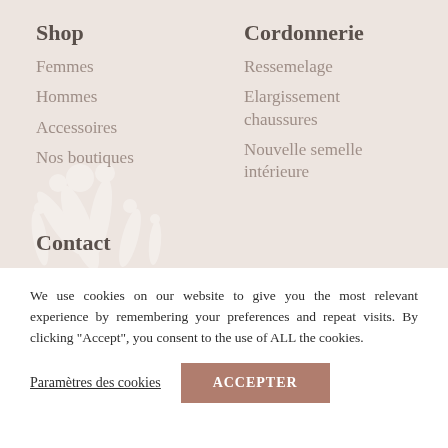Shop
Femmes
Hommes
Accessoires
Nos boutiques
Cordonnerie
Ressemelage
Elargissement chaussures
Nouvelle semelle intérieure
Contact
We use cookies on our website to give you the most relevant experience by remembering your preferences and repeat visits. By clicking "Accept", you consent to the use of ALL the cookies.
Paramètres des cookies
ACCEPTER